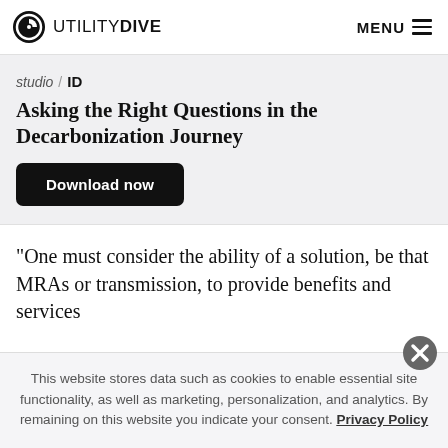UTILITY DIVE   MENU
studio / ID
Asking the Right Questions in the Decarbonization Journey
Download now
“One must consider the ability of a solution, be that MRAs or transmission, to provide benefits and services
This website stores data such as cookies to enable essential site functionality, as well as marketing, personalization, and analytics. By remaining on this website you indicate your consent. Privacy Policy